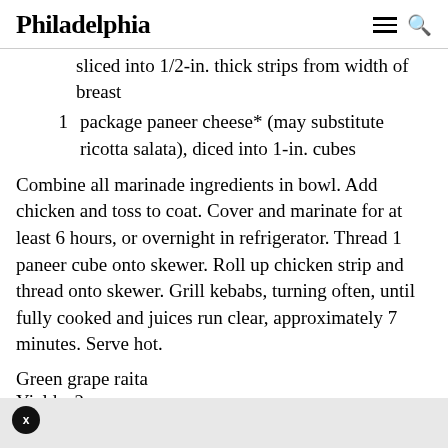Philadelphia
sliced into 1/2-in. thick strips from width of breast
1    package paneer cheese* (may substitute ricotta salata), diced into 1-in. cubes
Combine all marinade ingredients in bowl. Add chicken and toss to coat. Cover and marinate for at least 6 hours, or overnight in refrigerator. Thread 1 paneer cube onto skewer. Roll up chicken strip and thread onto skewer. Grill kebabs, turning often, until fully cooked and juices run clear, approximately 7 minutes. Serve hot.
Green grape raita
Yields: 2 cups
1 1/2    c. plain yogurt